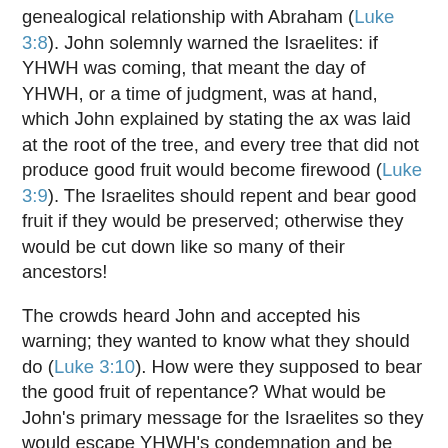genealogical relationship with Abraham (Luke 3:8). John solemnly warned the Israelites: if YHWH was coming, that meant the day of YHWH, or a time of judgment, was at hand, which John explained by stating the ax was laid at the root of the tree, and every tree that did not produce good fruit would become firewood (Luke 3:9). The Israelites should repent and bear good fruit if they would be preserved; otherwise they would be cut down like so many of their ancestors!
The crowds heard John and accepted his warning; they wanted to know what they should do (Luke 3:10). How were they supposed to bear the good fruit of repentance? What would be John's primary message for the Israelites so they would escape YHWH's condemnation and be prepared to welcome Him when He came?
John told Israel to share. A person who had two tunics must share with the one who has none, and the person who had food must share with those who did not have food (Luke 3:11).
Yes, John would go on to give specific exhortations to specific groups who asked. Tax collectors should collect nothing beyond what was required; soldiers should not take money by violence or false accusations, and be content with their wages.